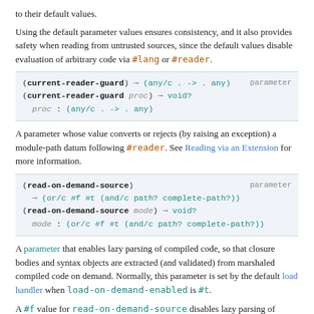to their default values.
Using the default parameter values ensures consistency, and it also provides safety when reading from untrusted sources, since the default values disable evaluation of arbitrary code via #lang or #reader.
(current-reader-guard) → (any/c . -> . any)   parameter
(current-reader-guard proc) → void?
  proc : (any/c . -> . any)
A parameter whose value converts or rejects (by raising an exception) a module-path datum following #reader. See Reading via an Extension for more information.
(read-on-demand-source)   parameter
  → (or/c #f #t (and/c path? complete-path?))
(read-on-demand-source mode) → void?
  mode : (or/c #f #t (and/c path? complete-path?))
A parameter that enables lazy parsing of compiled code, so that closure bodies and syntax objects are extracted (and validated) from marshaled compiled code on demand. Normally, this parameter is set by the default load handler when load-on-demand-enabled is #t.
A #f value for read-on-demand-source disables lazy parsing of compiled code. A #t value enables lazy parsing. A path value furthers enable lazy retrieval from